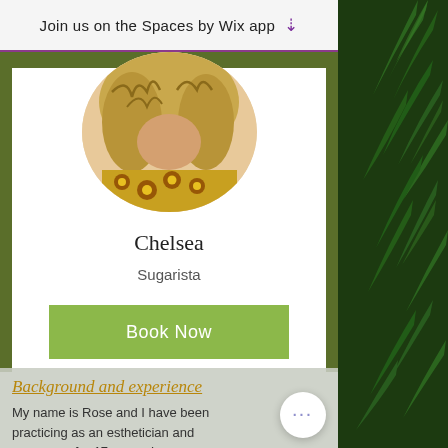Join us on the Spaces by Wix app
[Figure (photo): Circular profile photo of Chelsea, showing a person with curly blonde hair and colorful African print clothing]
Chelsea
Sugarista
Book Now
Background and experience
My name is Rose and I have been practicing as an esthetician and masseuse for 17 years. I am
[Figure (photo): Green fern foliage background panel on the right side]